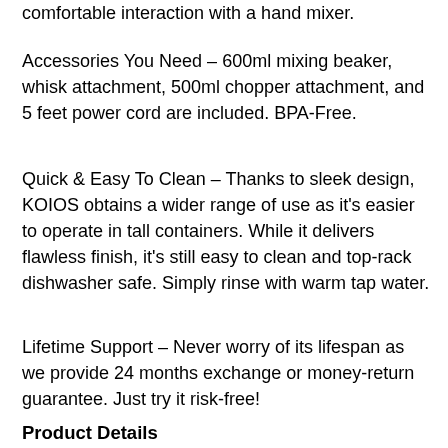comfortable interaction with a hand mixer.
Accessories You Need – 600ml mixing beaker, whisk attachment, 500ml chopper attachment, and 5 feet power cord are included. BPA-Free.
Quick & Easy To Clean – Thanks to sleek design, KOIOS obtains a wider range of use as it's easier to operate in tall containers. While it delivers flawless finish, it's still easy to clean and top-rack dishwasher safe. Simply rinse with warm tap water.
Lifetime Support – Never worry of its lifespan as we provide 24 months exchange or money-return guarantee. Just try it risk-free!
Product Details